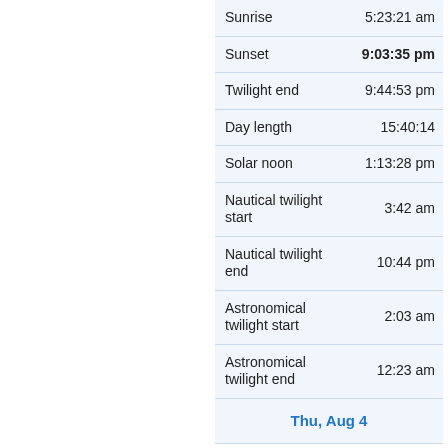|  |  |
| --- | --- |
| Sunrise | 5:23:21 am |
| Sunset | 9:03:35 pm |
| Twilight end | 9:44:53 pm |
| Day length | 15:40:14 |
| Solar noon | 1:13:28 pm |
| Nautical twilight start | 3:42 am |
| Nautical twilight end | 10:44 pm |
| Astronomical twilight start | 2:03 am |
| Astronomical twilight end | 12:23 am |
| Thu, Aug 4 |  |